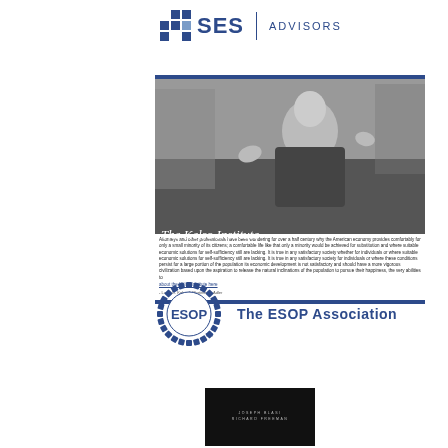[Figure (logo): SES Advisors logo with blue grid squares and text]
[Figure (photo): The Kelso Institute brochure/webpage showing a black and white photo of an elderly man speaking, with the title 'The Kelso Institute' overlaid, framed by blue horizontal bars, with body text below]
[Figure (logo): The ESOP Association logo — circular ring of small squares/tiles with 'ESOP' in center and 'The ESOP Association' text to the right]
[Figure (photo): Dark book cover showing author names at bottom on black background]